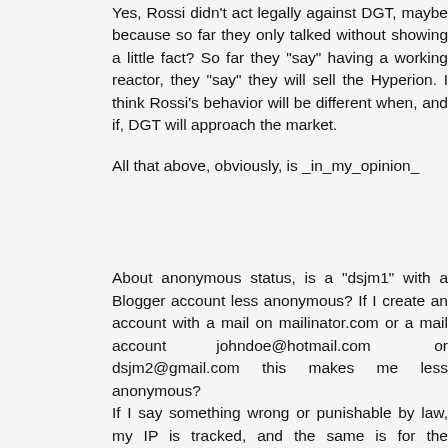Yes, Rossi didn't act legally against DGT, maybe because so far they only talked without showing a little fact? So far they "say" having a working reactor, they "say" they will sell the Hyperion. I think Rossi's behavior will be different when, and if, DGT will approach the market.
All that above, obviously, is _in_my_opinion_
About anonymous status, is a "dsjm1" with a Blogger account less anonymous? If I create an account with a mail on mailinator.com or a mail account johndoe@hotmail.com or dsjm2@gmail.com this makes me less anonymous?
If I say something wrong or punishable by law, my IP is tracked, and the same is for the thousands persons all around the web that have the same opinion.